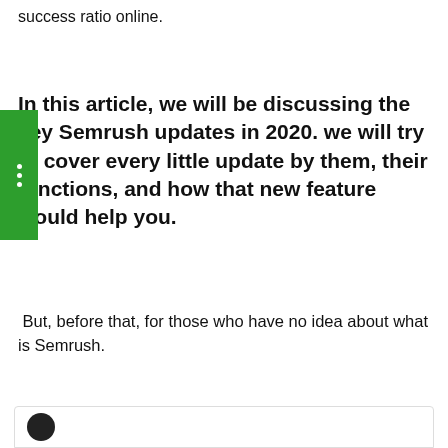success ratio online.
In this article, we will be discussing the key Semrush updates in 2020. we will try to cover every little update by them, their functions, and how that new feature would help you.
But, before that, for those who have no idea about what is Semrush.
[Figure (other): Blue rounded button with white text: Start 7 Days FREE Trial]
[Figure (other): Bottom card/box with avatar icon]